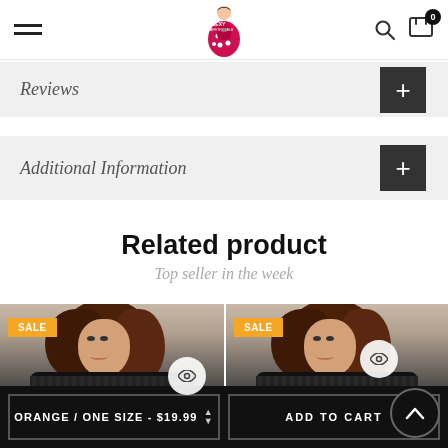Sexy Affordable — navigation header with hamburger menu, logo, search and cart (0 items)
Reviews
Additional Information
Related product
Top seller in the week
[Figure (photo): Two product cards side by side, each showing a female model wearing a black lace top, both marked with SALE badges in orange. Left card has an eye/quickview icon. Right card has an eye/quickview icon and a scroll-to-top button.]
ORANGE / ONE SIZE - $19.99
ADD TO CART